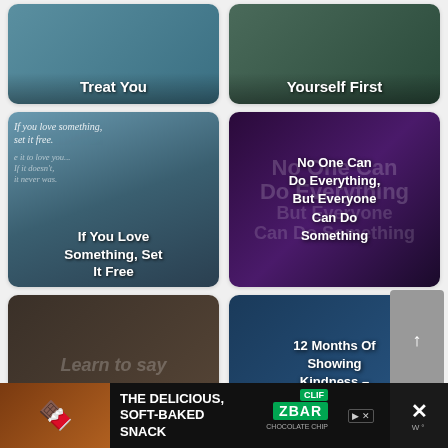[Figure (photo): Card with text overlay: Treat You, teal/blue background]
[Figure (photo): Card with text overlay: Yourself First, dark green background]
[Figure (photo): Card with text overlay: If You Love Something, Set It Free, blue mountain background]
[Figure (photo): Card with text overlay: No One Can Do Everything, But Everyone Can Do Something, purple/dark background]
[Figure (photo): Card with text overlay: When No Makes You Feel Guilty, chalkboard background]
[Figure (photo): Card with text overlay: 12 Months Of Showing Kindness – One Task Per Month, blue background with hands forming heart]
[Figure (other): Side scroll button, grey rectangle with arrow]
[Figure (other): Advertisement banner: The Delicious, Soft-Baked Snack, CLIF ZBAR, with close X button]